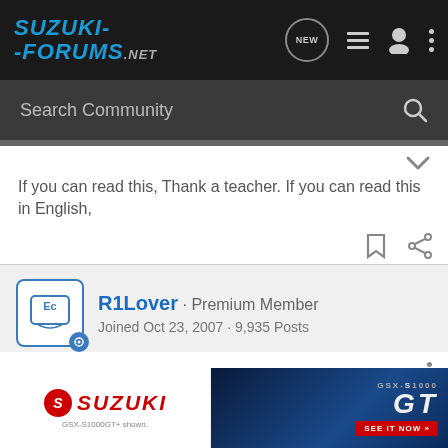SUZUKI-FORUMS.NET
Search Community
If you can read this, Thank a teacher. If you can read this in English,
R1Lover · Premium Member
Joined Oct 23, 2007 · 9,935 Posts
#4 · Jan 19, 2008
I know the one then, it's about 30 minutes from me....  My wife might wonder why the hell we are going all the way there for lunch th
[Figure (screenshot): Suzuki GSX-S1000GT advertisement banner with motorcycle image, red Suzuki logo, and GSX-S1000 GT text with 'SEE IT NOW' button]